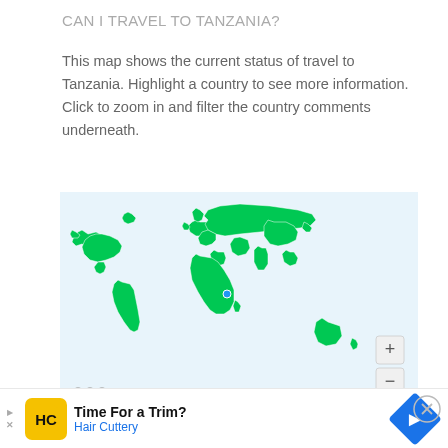CAN I TRAVEL TO TANZANIA?
This map shows the current status of travel to Tanzania. Highlight a country to see more information. Click to zoom in and filter the country comments underneath.
[Figure (map): World map showing countries shaded in green indicating travel status to Tanzania. Most countries displayed in green. Tanzania itself highlighted in blue/small marker. Map includes zoom in (+) and zoom out (-) controls on the right side, and a logo/watermark in the bottom left corner.]
MAP LEGEND
[Figure (infographic): Advertisement bar: Hair Cuttery ad with yellow icon containing HC logo, text 'Time For a Trim?' and 'Hair Cuttery' in blue, with blue diamond navigation arrow on right. Small triangle play and X icons on left.]